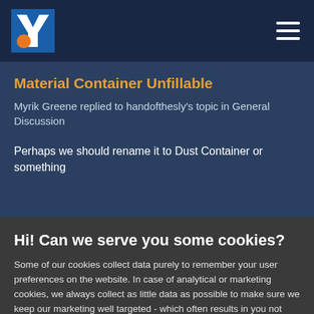[Figure (logo): Yellow and orange Y logo icon on blue background]
Material Container Unfillable
Myrik Greene replied to handofthesly's topic in General Discussion
Perhaps we should rename it to Dust Container or something
Hi! Can we serve you some cookies?
Some of our cookies collect data purely to remember your user preferences on the website. In case of analytical or marketing cookies, we always collect as little data as possible to make sure we keep our marketing well targeted - which often results in you not being spammed by any of our ads at all. We're also never looking at data about you in particular, everything at Bohemia is analyzed in an aggregated form. Learn more
Allow all cookies
I want more options